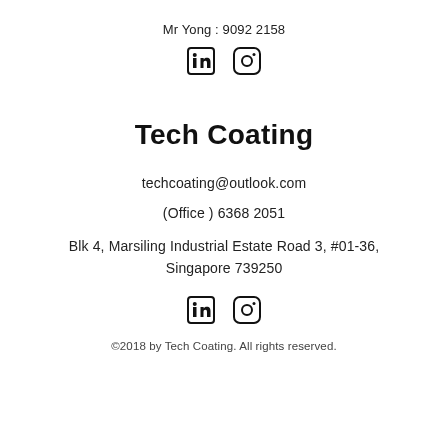Mr Yong : 9092 2158
[Figure (illustration): LinkedIn and Instagram social media icons (top)]
Tech Coating
techcoating@outlook.com
(Office ) 6368 2051
Blk 4, Marsiling Industrial Estate Road 3, #01-36, Singapore 739250
[Figure (illustration): LinkedIn and Instagram social media icons (bottom)]
©2018 by Tech Coating. All rights reserved.